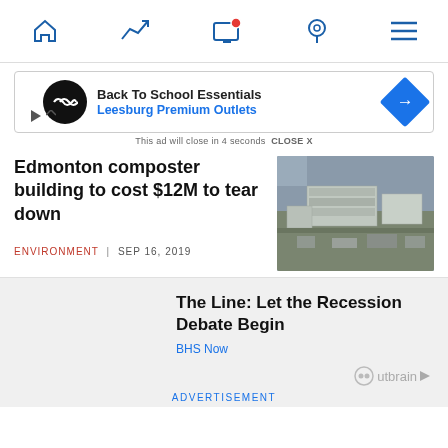Navigation bar with home, trending, notifications, location, and menu icons
[Figure (screenshot): Advertisement banner: Back To School Essentials - Leesburg Premium Outlets]
This ad will close in 4 seconds  CLOSE X
Edmonton composter building to cost $12M to tear down
[Figure (photo): Aerial photo of an industrial building complex]
ENVIRONMENT | SEP 16, 2019
The Line: Let the Recession Debate Begin
BHS Now
Outbrain
ADVERTISEMENT